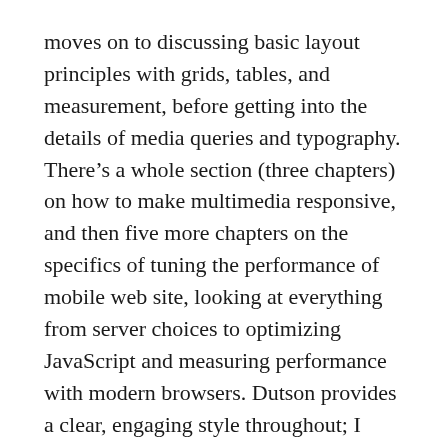moves on to discussing basic layout principles with grids, tables, and measurement, before getting into the details of media queries and typography. There’s a whole section (three chapters) on how to make multimedia responsive, and then five more chapters on the specifics of tuning the performance of mobile web site, looking at everything from server choices to optimizing JavaScript and measuring performance with modern browsers. Dutson provides a clear, engaging style throughout; I planned on pacing myself by reading a couple of chapters a night to let things sink in, and frequently moved on to a third or even fourth chapter before stopping.
I got a lot more out of the book than I expected, and I had pretty high hopes to begin with. If I had to name a fault of the book, it’s that I’m not sure how well it will age in some regards. Dutson is very good